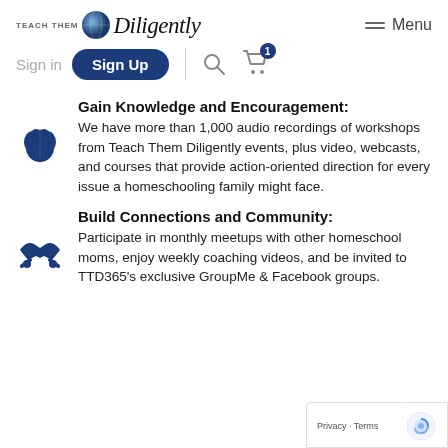[Figure (logo): Teach Them Diligently logo with globe icon and italic script wordmark]
[Figure (illustration): Hamburger menu icon with 'Menu' text]
Sign in
Sign Up
[Figure (illustration): Search (magnifying glass) icon]
[Figure (illustration): Shopping cart icon with badge showing 1]
Gain Knowledge and Encouragement:
We have more than 1,000 audio recordings of workshops from Teach Them Diligently events, plus video, webcasts, and courses that provide action-oriented direction for every issue a homeschooling family might face.
[Figure (illustration): Dark navy blue brain icon]
Build Connections and Community:
Participate in monthly meetups with other homeschool moms, enjoy weekly coaching videos, and be invited to TTD365's exclusive GroupMe & Facebook groups.
[Figure (illustration): Dark navy blue handshake icon]